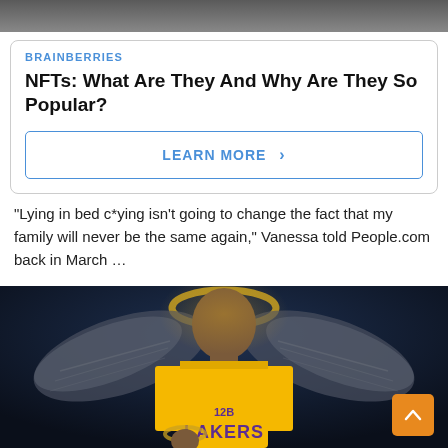[Figure (photo): Top portion of a photo, partially cropped, showing people]
BRAINBERRIES
NFTs: What Are They And Why Are They So Popular?
LEARN MORE >
“Lying in bed c*ying isn’t going to change the fact that my family will never be the same again,” Vanessa told People.com back in March …
“But getting out of bed and pu!hing forward is going to make the day better for my girls and for me. So that’s what I do.”
[Figure (illustration): Artistic illustration of Kobe Bryant in Lakers jersey #24 with angel wings and a halo, depicted as a saint-like figure, with another figure below him also with a halo]